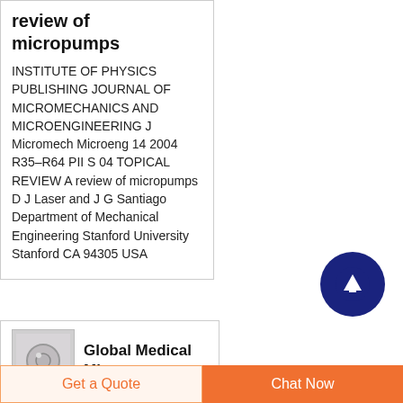review of micropumps
INSTITUTE OF PHYSICS PUBLISHING JOURNAL OF MICROMECHANICS AND MICROENGINEERING J Micromech Microeng 14 2004 R35–R64 PII S 04 TOPICAL REVIEW A review of micropumps D J Laser and J G Santiago Department of Mechanical Engineering Stanford University Stanford CA 94305 USA
[Figure (other): Dark navy blue circular scroll-to-top button with an upward arrow icon]
[Figure (photo): Thumbnail image of a circular medical micropump device]
Global Medical Micropump
Get a Quote
Chat Now